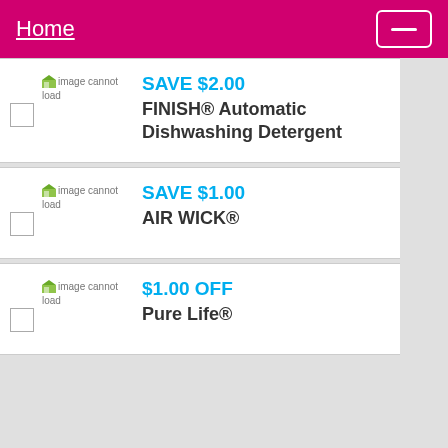Home
[Figure (other): Coupon listing for FINISH Automatic Dishwashing Detergent - SAVE $2.00 with broken image placeholder]
[Figure (other): Coupon listing for AIR WICK - SAVE $1.00 with broken image placeholder]
[Figure (other): Coupon listing for Pure Life - $1.00 OFF with broken image placeholder]